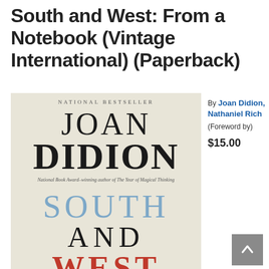South and West: From a Notebook (Vintage International) (Paperback)
[Figure (illustration): Book cover of 'South and West' by Joan Didion. Beige/cream background with text: 'NATIONAL BESTSELLER' at top, author name 'JOAN DIDION' in large serif font, subtitle text 'National Book Award-winning author of The Year of Magical Thinking', a horizontal divider, then title words 'SOUTH' in blue, 'AND' in black, 'WEST' in red.]
By Joan Didion, Nathaniel Rich (Foreword by)
$15.00